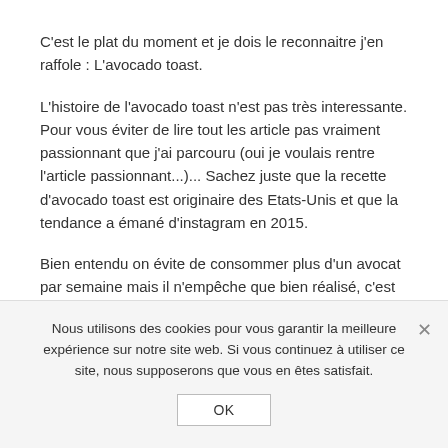C'est le plat du moment et je dois le reconnaitre j'en raffole : L'avocado toast.
L'histoire de l'avocado toast n'est pas très interessante. Pour vous éviter de lire tout les article pas vraiment passionnant que j'ai parcouru (oui je voulais rentre l'article passionnant...)... Sachez juste que la recette d'avocado toast est originaire des Etats-Unis et que la tendance a émané d'instagram en 2015.
Bien entendu on évite de consommer plus d'un avocat par semaine mais il n'empêche que bien réalisé, c'est une valeur sûre.
Nous utilisons des cookies pour vous garantir la meilleure expérience sur notre site web. Si vous continuez à utiliser ce site, nous supposerons que vous en êtes satisfait.
OK